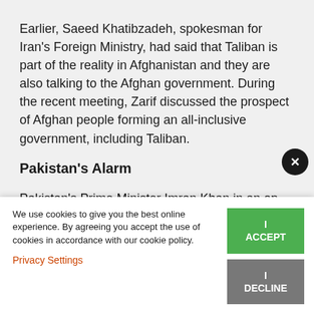Earlier, Saeed Khatibzadeh, spokesman for Iran's Foreign Ministry, had said that Taliban is part of the reality in Afghanistan and they are also talking to the Afghan government. During the recent meeting, Zarif discussed the prospect of Afghan people forming an all-inclusive government, including Taliban.
Pakistan's Alarm
Pakistan's Prime Minister Imran Khan in an op-ed in The Washington Post on 9 June sounded hurt by
We use cookies to give you the best online experience. By agreeing you accept the use of cookies in accordance with our cookie policy.
Privacy Settings